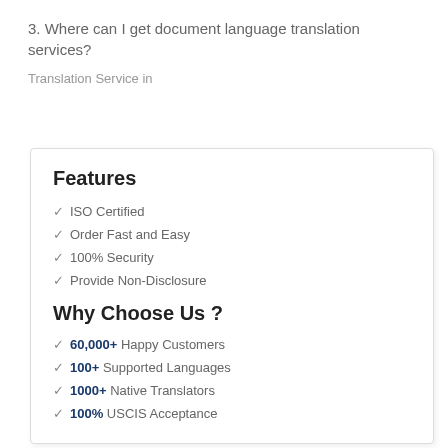3. Where can I get document language translation services?
Translation Service in
Features
✓ ISO Certified
✓ Order Fast and Easy
✓ 100% Security
✓ Provide Non-Disclosure
Why Choose Us ?
✓ 60,000+ Happy Customers
✓ 100+ Supported Languages
✓ 1000+ Native Translators
✓ 100% USCIS Acceptance